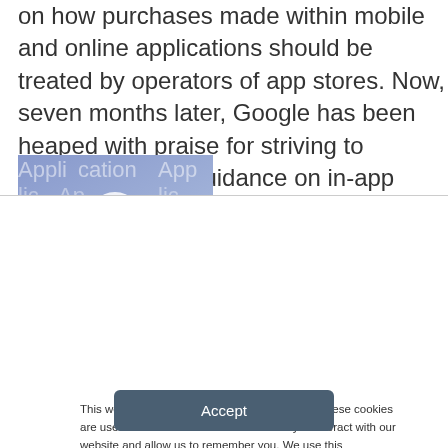on how purchases made within mobile and online applications should be treated by operators of app stores. Now, seven months later, Google has been heaped with praise for striving to comply with EU guidance on in-app buys, while Apple has been rebuked for dragging its feet.
[Figure (photo): Partial image showing blue/purple app icons with text 'Application App lication App lic lic' and a circular white icon, cropped at the bottom]
This website stores cookies on your computer. These cookies are used to collect information about how you interact with our website and allow us to remember you. We use this information in order to improve and customize your browsing experience and for analytics and metrics about our visitors both on this website and other media. To find out more about the cookies we use, see our Privacy Policy. California residents have the right to direct us not to sell their personal information to third parties by filing an Opt-Out Request: Do Not Sell My Personal Info.